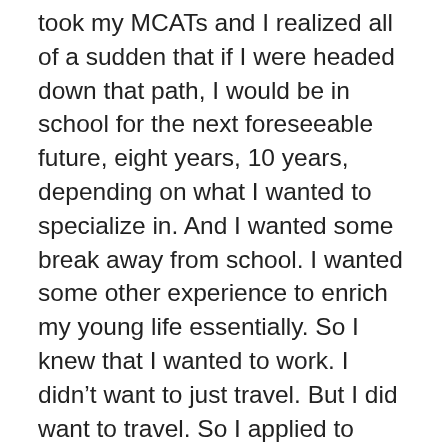took my MCATs and I realized all of a sudden that if I were headed down that path, I would be in school for the next foreseeable future, eight years, 10 years, depending on what I wanted to specialize in. And I wanted some break away from school. I wanted some other experience to enrich my young life essentially. So I knew that I wanted to work. I didn't want to just travel. But I did want to travel. So I applied to normal jobs; I applied to some in New York, some in Boston, and they were all research positions, very interesting things that I would have loved to do and pursue. But I heard about this opportunity through a blast email at Cornell. They send these emails to undergrads and basically say, if anyone's interested in moving abroad, it's in Qatar. We have a sister campus for our medical school there and you'll be a teaching assistant for the pre-medical students. So I was very interested by it and I had a